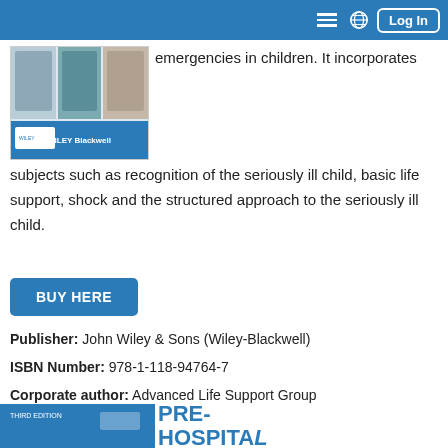Log In
[Figure (photo): Book cover showing paediatric emergency medical procedures, published by Wiley Blackwell]
emergencies in children. It incorporates subjects such as recognition of the seriously ill child, basic life support, shock and the structured approach to the seriously ill child.
BUY HERE
Publisher: John Wiley & Sons (Wiley-Blackwell)
ISBN Number: 978-1-118-94764-7
Corporate author: Advanced Life Support Group
Publishing date: 2016
[Figure (photo): Bottom strip showing another book cover with blue background and text PRE-HOSPITAL]